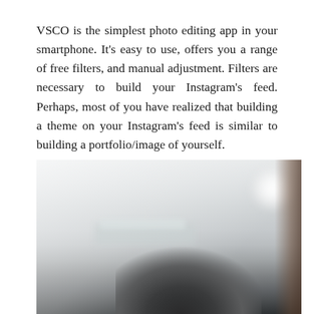VSCO is the simplest photo editing app in your smartphone. It's easy to use, offers you a range of free filters, and manual adjustment. Filters are necessary to build your Instagram's feed. Perhaps, most of you have realized that building a theme on your Instagram's feed is similar to building a portfolio/image of yourself.
[Figure (photo): A blurred photo showing a person (top of head with dark hair visible at bottom center), a bright interior background with what appears to be shelving or a whiteboard area, a blurred white product/tube object in the middle area, and a warm brown shadow on the right edge.]